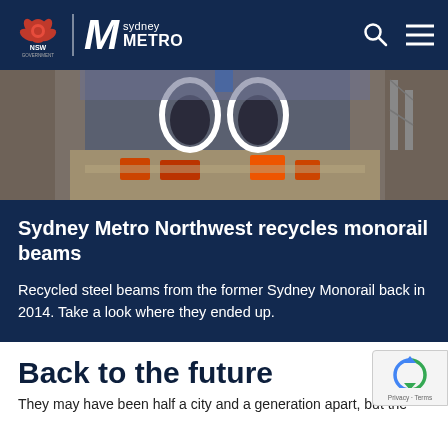NSW Government | Sydney Metro
[Figure (photo): Aerial construction photo of a deep excavation site showing tunnel portals and construction equipment]
Sydney Metro Northwest recycles monorail beams
Recycled steel beams from the former Sydney Monorail back in 2014. Take a look where they ended up.
Back to the future
They may have been half a city and a generation apart, but the